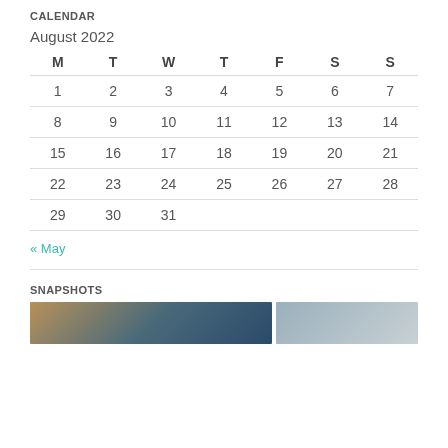CALENDAR
August 2022
| M | T | W | T | F | S | S |
| --- | --- | --- | --- | --- | --- | --- |
| 1 | 2 | 3 | 4 | 5 | 6 | 7 |
| 8 | 9 | 10 | 11 | 12 | 13 | 14 |
| 15 | 16 | 17 | 18 | 19 | 20 | 21 |
| 22 | 23 | 24 | 25 | 26 | 27 | 28 |
| 29 | 30 | 31 |  |  |  |  |
« May
SNAPSHOTS
[Figure (photo): Two snapshot photos side by side — left shows outdoor scene with blue vehicle, right shows lighter outdoor scene]